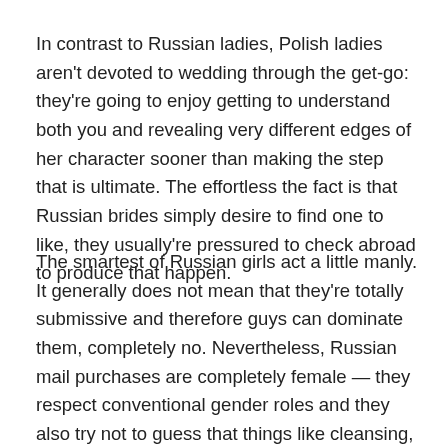In contrast to Russian ladies, Polish ladies aren't devoted to wedding through the get-go: they're going to enjoy getting to understand both you and revealing very different edges of her character sooner than making the step that is ultimate. The effortless the fact is that Russian brides simply desire to find one to like, they usually're pressured to check abroad to produce that happen.
The smartest of Russian girls act a little manly. It generally does not mean that they're totally submissive and therefore guys can dominate them, completely no. Nevertheless, Russian mail purchases are completely female — they respect conventional gender roles and they also try not to guess that things like cleansing, cooking and elevating youths are unsatisfactory. For